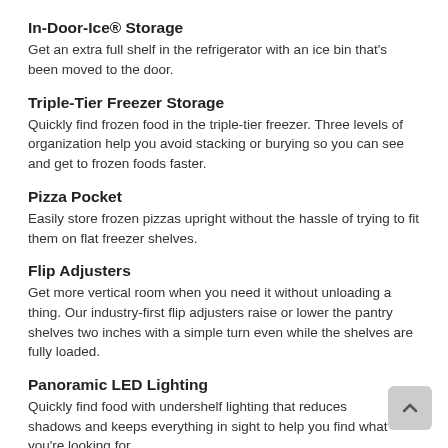In-Door-Ice® Storage
Get an extra full shelf in the refrigerator with an ice bin that's been moved to the door.
Triple-Tier Freezer Storage
Quickly find frozen food in the triple-tier freezer. Three levels of organization help you avoid stacking or burying so you can see and get to frozen foods faster.
Pizza Pocket
Easily store frozen pizzas upright without the hassle of trying to fit them on flat freezer shelves.
Flip Adjusters
Get more vertical room when you need it without unloading a thing. Our industry-first flip adjusters raise or lower the pantry shelves two inches with a simple turn even while the shelves are fully loaded.
Panoramic LED Lighting
Quickly find food with undershelf lighting that reduces shadows and keeps everything in sight to help you find what you're looking for.